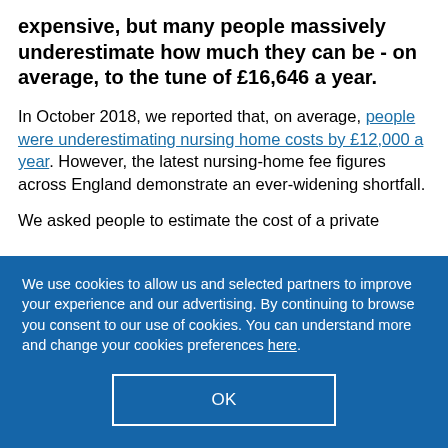expensive, but many people massively underestimate how much they can be - on average, to the tune of £16,646 a year.
In October 2018, we reported that, on average, people were underestimating nursing home costs by £12,000 a year. However, the latest nursing-home fee figures across England demonstrate an ever-widening shortfall.
We asked people to estimate the cost of a private
We use cookies to allow us and selected partners to improve your experience and our advertising. By continuing to browse you consent to our use of cookies. You can understand more and change your cookies preferences here.